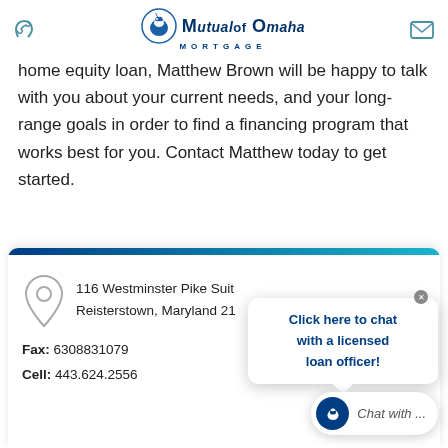Mutual of Omaha Mortgage
home equity loan, Matthew Brown will be happy to talk with you about your current needs, and your long-range goals in order to find a financing program that works best for you. Contact Matthew today to get started.
116 Westminster Pike Suite
Reisterstown, Maryland 21
Fax: 6308831079
Cell: 443.624.2556
Click here to chat with a licensed loan officer!
Chat with ...